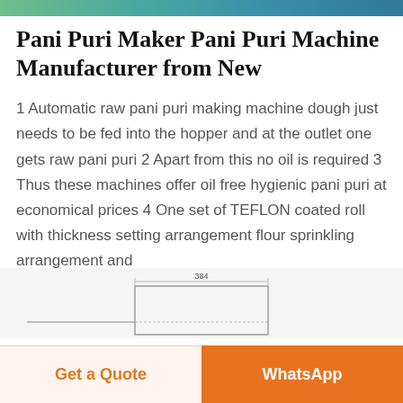[Figure (photo): Top image strip showing green/teal colored scene, likely food machinery]
Pani Puri Maker Pani Puri Machine Manufacturer from New
1 Automatic raw pani puri making machine dough just needs to be fed into the hopper and at the outlet one gets raw pani puri 2 Apart from this no oil is required 3 Thus these machines offer oil free hygienic pani puri at economical prices 4 One set of TEFLON coated roll with thickness setting arrangement flour sprinkling arrangement and
[Figure (schematic): Partial technical diagram/schematic of a machine, showing a rectangular outline with a dimension label at top (384)]
Get a Quote
WhatsApp